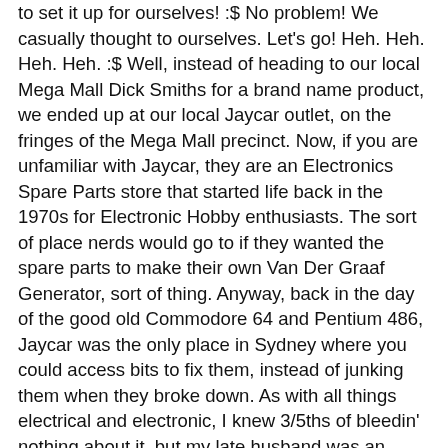to set it up for ourselves! :$ No problem! We casually thought to ourselves. Let's go! Heh. Heh. Heh. Heh. :$ Well, instead of heading to our local Mega Mall Dick Smiths for a brand name product, we ended up at our local Jaycar outlet, on the fringes of the Mega Mall precinct. Now, if you are unfamiliar with Jaycar, they are an Electronics Spare Parts store that started life back in the 1970s for Electronic Hobby enthusiasts. The sort of place nerds would go to if they wanted the spare parts to make their own Van Der Graaf Generator, sort of thing. Anyway, back in the day of the good old Commodore 64 and Pentium 486, Jaycar was the only place in Sydney where you could access bits to fix them, instead of junking them when they broke down. As with all things electrical and electronic, I knew 3/5ths of bleedin' nothing about it, but my late husband was an original dabbler inside the boxes of these new contraptions, otherwise known as 'Personal Computers'. He had also been an amateur rocket builder, and explosives maker, before it became a pastime with a more sensorious cast. :) One day he